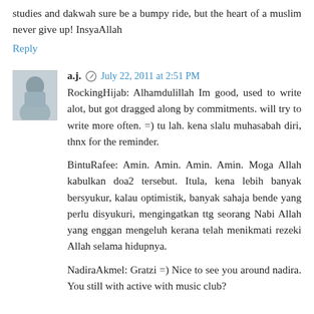studies and dakwah sure be a bumpy ride, but the heart of a muslim never give up! InsyaAllah
Reply
a.j. July 22, 2011 at 2:51 PM
RockingHijab: Alhamdulillah Im good, used to write alot, but got dragged along by commitments. will try to write more often. =) tu lah. kena slalu muhasabah diri, thnx for the reminder.

BintuRafee: Amin. Amin. Amin. Amin. Moga Allah kabulkan doa2 tersebut. Itula, kena lebih banyak bersyukur, kalau optimistik, banyak sahaja bende yang perlu disyukuri, mengingatkan ttg seorang Nabi Allah yang enggan mengeluh kerana telah menikmati rezeki Allah selama hidupnya.

NadiraAkmel: Gratzi =) Nice to see you around nadira. You still with active with music club?